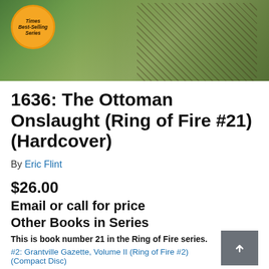[Figure (illustration): Book cover image showing fantasy/historical battle scene with armored figures, green background, and a badge reading 'Times Best-Selling Series']
1636: The Ottoman Onslaught (Ring of Fire #21) (Hardcover)
By Eric Flint
$26.00
Email or call for price
Other Books in Series
This is book number 21 in the Ring of Fire series.
#2: Grantville Gazette, Volume II (Ring of Fire #2) (Compact Disc)